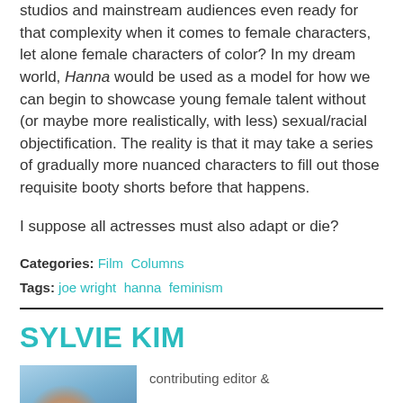studios and mainstream audiences even ready for that complexity when it comes to female characters, let alone female characters of color? In my dream world, Hanna would be used as a model for how we can begin to showcase young female talent without (or maybe more realistically, with less) sexual/racial objectification. The reality is that it may take a series of gradually more nuanced characters to fill out those requisite booty shorts before that happens.
I suppose all actresses must also adapt or die?
Categories: Film  Columns
Tags: joe wright  hanna  feminism
SYLVIE KIM
contributing editor &